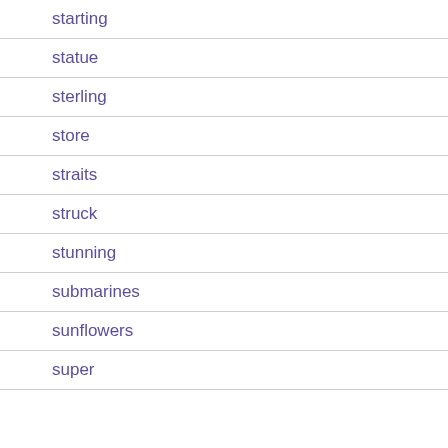starting
statue
sterling
store
straits
struck
stunning
submarines
sunflowers
super